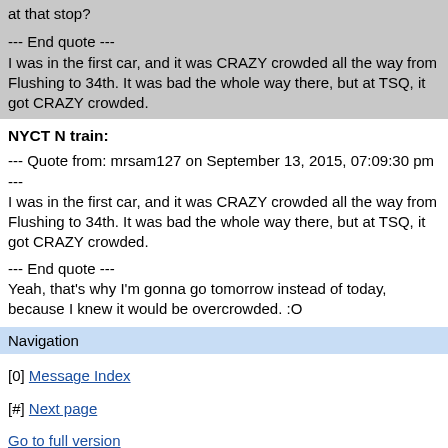at that stop?
--- End quote ---
I was in the first car, and it was CRAZY crowded all the way from Flushing to 34th. It was bad the whole way there, but at TSQ, it got CRAZY crowded.
NYCT N train:
--- Quote from: mrsam127 on September 13, 2015, 07:09:30 pm ---
I was in the first car, and it was CRAZY crowded all the way from Flushing to 34th. It was bad the whole way there, but at TSQ, it got CRAZY crowded.
--- End quote ---
Yeah, that's why I'm gonna go tomorrow instead of today, because I knew it would be overcrowded. :O
Navigation
[0] Message Index
[#] Next page
Go to full version